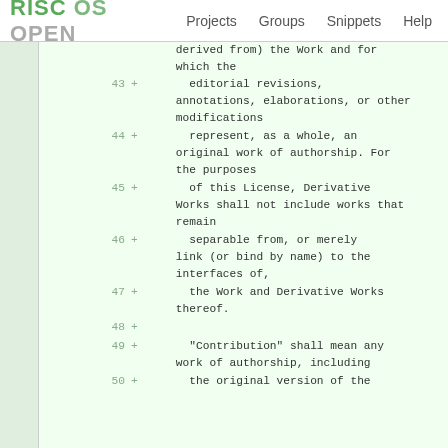RISC OS OPEN   Projects   Groups   Snippets   Help
derived from) the Work and for which the
43 +       editorial revisions, annotations, elaborations, or other modifications
44 +       represent, as a whole, an original work of authorship. For the purposes
45 +       of this License, Derivative Works shall not include works that remain
46 +       separable from, or merely link (or bind by name) to the interfaces of,
47 +       the Work and Derivative Works thereof.
48 +
49 +       "Contribution" shall mean any work of authorship, including
50 +       the original version of the